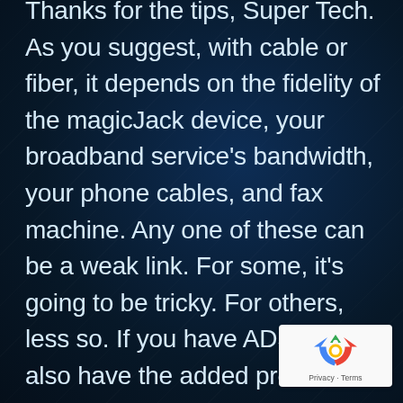Thanks for the tips, Super Tech. As you suggest, with cable or fiber, it depends on the fidelity of the magicJack device, your broadband service's bandwidth, your phone cables, and fax machine. Any one of these can be a weak link. For some, it's going to be tricky. For others, less so. If you have ADSL, you also have the added problem of competing high-frequency signal on copper lines.
[Figure (logo): reCAPTCHA badge with recycling-arrow logo icon and 'Privacy · Terms' text]